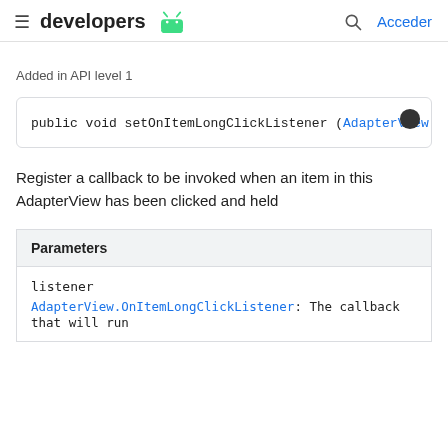developers | Acceder
Added in API level 1
[Figure (screenshot): Code block showing: public void setOnItemLongClickListener (AdapterView.]
Register a callback to be invoked when an item in this AdapterView has been clicked and held
| Parameters |
| --- |
| listener |
| AdapterView.OnItemLongClickListener: The callback that will run |